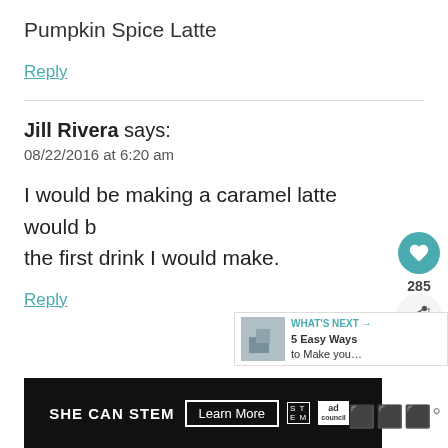Pumpkin Spice Latte
Reply
Jill Rivera says:
08/22/2016 at 6:20 am
I would be making a caramel latte would be the first drink I would make.
Reply
[Figure (screenshot): SHE CAN STEM advertisement banner with Learn More button and ad council logo]